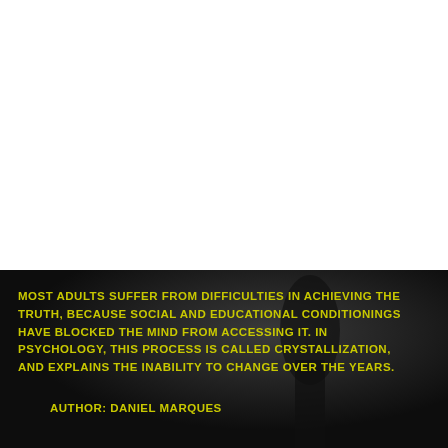[Figure (photo): Dark atmospheric photo of a silhouetted figure against a dark grey background, with yellow bold uppercase text overlaid as a quote. The top portion of the page is white.]
MOST ADULTS SUFFER FROM DIFFICULTIES IN ACHIEVING THE TRUTH, BECAUSE SOCIAL AND EDUCATIONAL CONDITIONINGS HAVE BLOCKED THE MIND FROM ACCESSING IT. IN PSYCHOLOGY, THIS PROCESS IS CALLED CRYSTALLIZATION, AND EXPLAINS THE INABILITY TO CHANGE OVER THE YEARS.
AUTHOR: DANIEL MARQUES